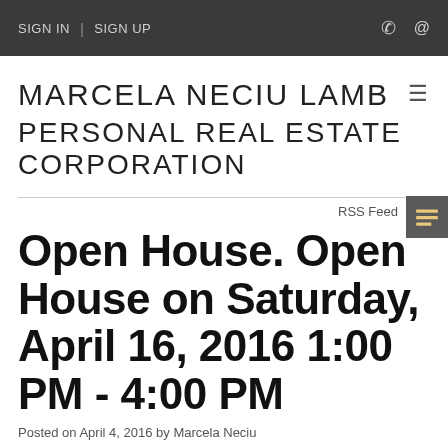SIGN IN | SIGN UP
MARCELA NECIU LAMB PERSONAL REAL ESTATE CORPORATION
RSS Feed
Open House. Open House on Saturday, April 16, 2016 1:00 PM - 4:00 PM
Posted on April 4, 2016 by Marcela Neciu